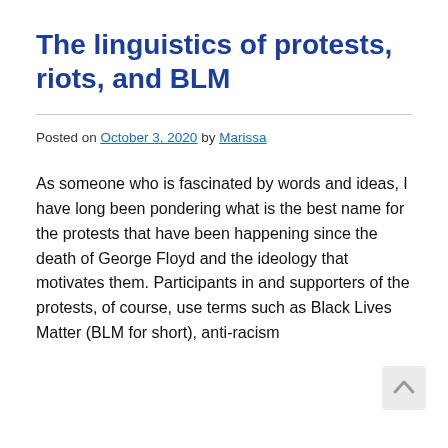The linguistics of protests, riots, and BLM
Posted on October 3, 2020 by Marissa
As someone who is fascinated by words and ideas, I have long been pondering what is the best name for the protests that have been happening since the death of George Floyd and the ideology that motivates them. Participants in and supporters of the protests, of course, use terms such as Black Lives Matter (BLM for short), anti-racism